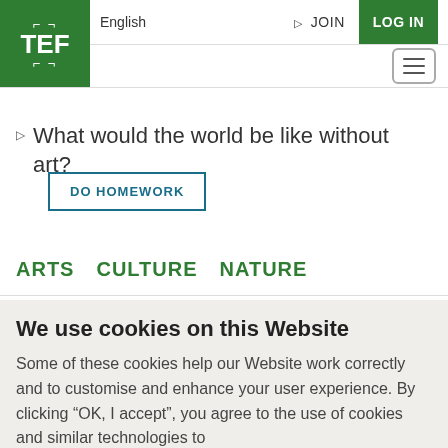[Figure (logo): TEF logo in green square with white bracket icons]
English  JOIN  LOG IN
What would the world be like without art?
DO HOMEWORK
ARTS   CULTURE   NATURE
We use cookies on this Website
Some of these cookies help our Website work correctly and to customise and enhance your user experience. By clicking “OK, I accept”, you agree to the use of cookies and similar technologies to